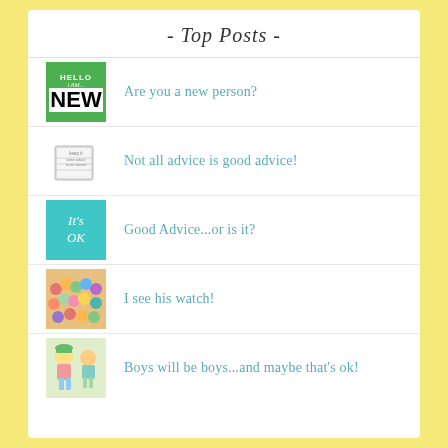- Top Posts -
Are you a new person?
Not all advice is good advice!
Good Advice...or is it?
I see his watch!
Boys will be boys...and maybe that's ok!